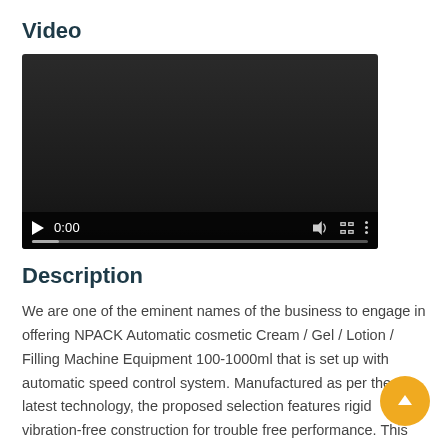Video
[Figure (screenshot): Embedded video player with dark background, play button, 0:00 timestamp, volume icon, fullscreen icon, more options icon, and a progress bar at the bottom.]
Description
We are one of the eminent names of the business to engage in offering NPACK Automatic cosmetic Cream / Gel / Lotion / Filling Machine Equipment 100-1000ml that is set up with automatic speed control system. Manufactured as per the latest technology, the proposed selection features rigid vibration-free construction for trouble free performance. This efficient machine is acknowledged for its speedy operation and adjustable conveyor height, as per